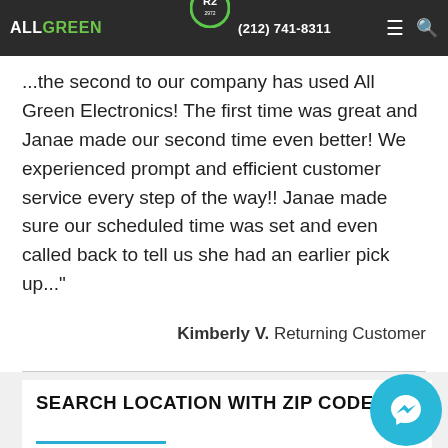ALL GREEN | R2 | (212) 741-8311
...the second time our company has used All Green Electronics! The first time was great and Janae made our second time even better! We experienced prompt and efficient customer service every step of the way!! Janae made sure our scheduled time was set and even called back to tell us she had an earlier pick up..."
Kimberly V. Returning Customer
READ MORE →
SEARCH LOCATION WITH ZIP CODE